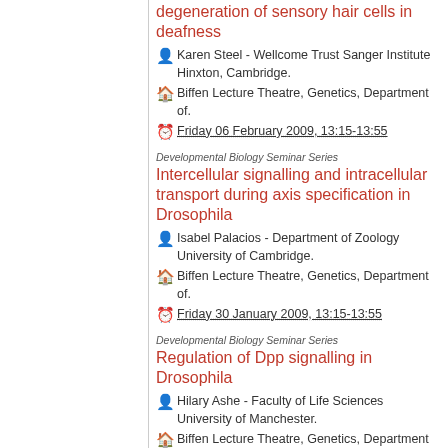degeneration of sensory hair cells in deafness
Karen Steel - Wellcome Trust Sanger Institute Hinxton, Cambridge.
Biffen Lecture Theatre, Genetics, Department of.
Friday 06 February 2009, 13:15-13:55
Developmental Biology Seminar Series
Intercellular signalling and intracellular transport during axis specification in Drosophila
Isabel Palacios - Department of Zoology University of Cambridge.
Biffen Lecture Theatre, Genetics, Department of.
Friday 30 January 2009, 13:15-13:55
Developmental Biology Seminar Series
Regulation of Dpp signalling in Drosophila
Hilary Ashe - Faculty of Life Sciences University of Manchester.
Biffen Lecture Theatre, Genetics, Department of.
Friday 23 January 2009, 13:15-13:55